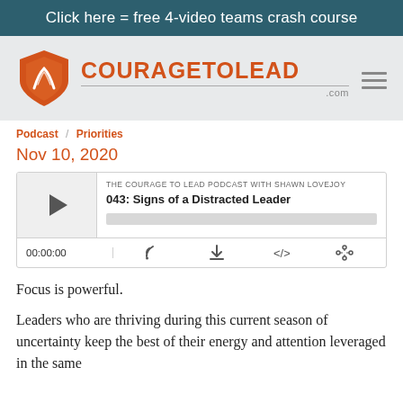Click here = free 4-video teams crash course
[Figure (logo): CourageToLead.com logo with orange shield icon and hamburger menu]
Podcast  Priorities
Nov 10, 2020
[Figure (screenshot): Podcast player widget for 'THE COURAGE TO LEAD PODCAST WITH SHAWN LOVEJOY' episode '043: Signs of a Distracted Leader' with play button, progress bar, time 00:00:00 and control icons]
Focus is powerful.
Leaders who are thriving during this current season of uncertainty keep the best of their energy and attention leveraged in the same